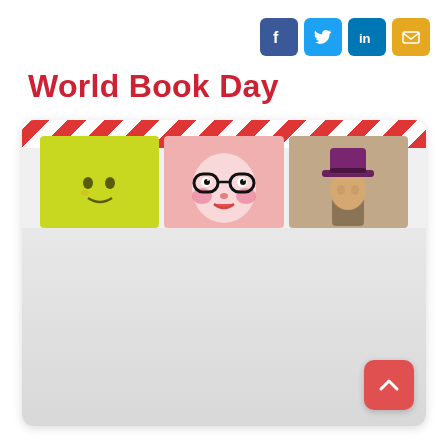Social media icons: Facebook, Twitter, LinkedIn, Email
World Book Day
[Figure (photo): Card with diagonal red-and-white stripe border at top and three photos peeking above: a yellow smiley face character, a character with large glasses and pink cheeks, and a figure wearing a dark maroon hat. The card body is light grey.]
[Figure (other): Back-to-top button: red rounded square with white upward chevron arrow]